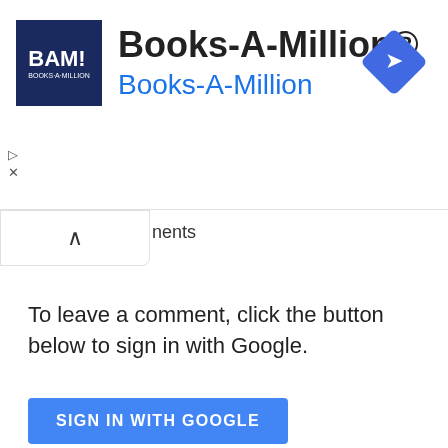[Figure (screenshot): Books-A-Million advertisement banner with BAM! logo, title 'Books-A-Million®', subtitle 'Books-A-Million' in blue, and a blue diamond navigation icon in the top right. Play and close controls visible on the left side.]
nents
To leave a comment, click the button below to sign in with Google.
[Figure (screenshot): Blue 'SIGN IN WITH GOOGLE' button]